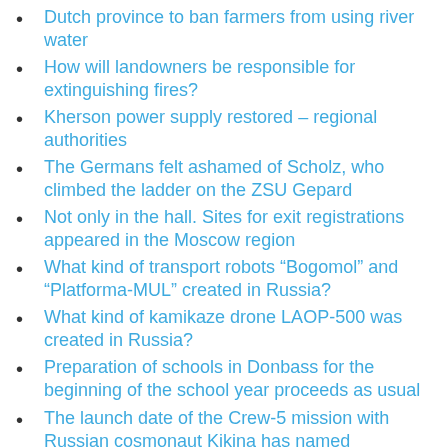Dutch province to ban farmers from using river water
How will landowners be responsible for extinguishing fires?
Kherson power supply restored – regional authorities
The Germans felt ashamed of Scholz, who climbed the ladder on the ZSU Gepard
Not only in the hall. Sites for exit registrations appeared in the Moscow region
What kind of transport robots “Bogomol” and “Platforma-MUL” created in Russia?
What kind of kamikaze drone LAOP-500 was created in Russia?
Preparation of schools in Donbass for the beginning of the school year proceeds as usual
The launch date of the Crew-5 mission with Russian cosmonaut Kikina has named